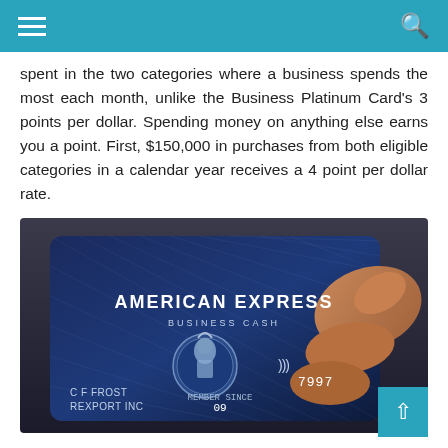menu | search
spent in the two categories where a business spends the most each month, unlike the Business Platinum Card's 3 points per dollar. Spending money on anything else earns you a point. First, $150,000 in purchases from both eligible categories in a calendar year receives a 4 point per dollar rate.
[Figure (photo): A hand holding a blue American Express Business Cash credit card. The card shows 'AMERICAN EXPRESS BUSINESS CASH', a classical figure medallion, contactless payment symbol, last 4 digits 7997, expiry month 09, and cardholder name 'C F FROST REXPORT INC'.]
Even while the earnings cap may appear restrictive, it will